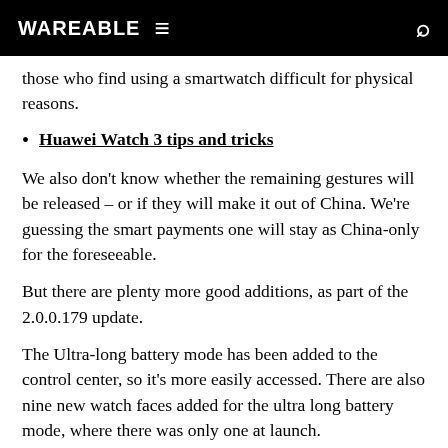WAREABLE
those who find using a smartwatch difficult for physical reasons.
Huawei Watch 3 tips and tricks
We also don't know whether the remaining gestures will be released – or if they will make it out of China. We're guessing the smart payments one will stay as China-only for the foreseeable.
But there are plenty more good additions, as part of the 2.0.0.179 update.
The Ultra-long battery mode has been added to the control center, so it's more easily accessed. There are also nine new watch faces added for the ultra long battery mode, where there was only one at launch.
You can now add DIY video watch faces (for Android users only) and voice notifications for sports modes have also been added